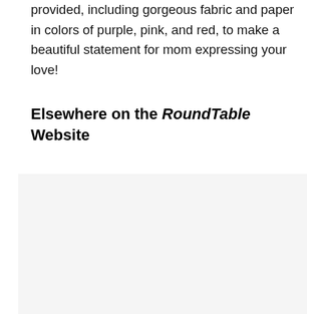provided, including gorgeous fabric and paper in colors of purple, pink, and red, to make a beautiful statement for mom expressing your love!
Elsewhere on the RoundTable Website
[Figure (other): Light gray placeholder image block]